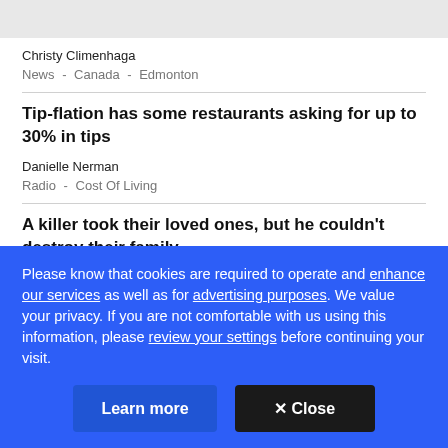Christy Climenhaga
News - Canada - Edmonton
Tip-flation has some restaurants asking for up to 30% in tips
Danielle Nerman
Radio - Cost Of Living
A killer took their loved ones, but he couldn't destroy their family
Please know that cookies are required to operate and enhance our services as well as for advertising purposes. We value your privacy. If you are not comfortable with us using this information, please review your settings before continuing your visit.